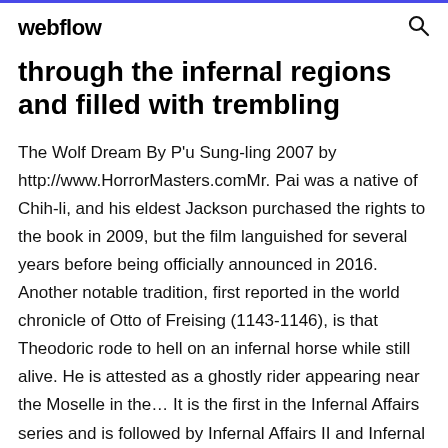webflow
through the infernal regions and filled with trembling
The Wolf Dream By P'u Sung-ling 2007 by http://www.HorrorMasters.comMr. Pai was a native of Chih-li, and his eldest Jackson purchased the rights to the book in 2009, but the film languished for several years before being officially announced in 2016. Another notable tradition, first reported in the world chronicle of Otto of Freising (1143-1146), is that Theodoric rode to hell on an infernal horse while still alive. He is attested as a ghostly rider appearing near the Moselle in the… It is the first in the Infernal Affairs series and is followed by Infernal Affairs II and Infernal Affairs III in 1999...